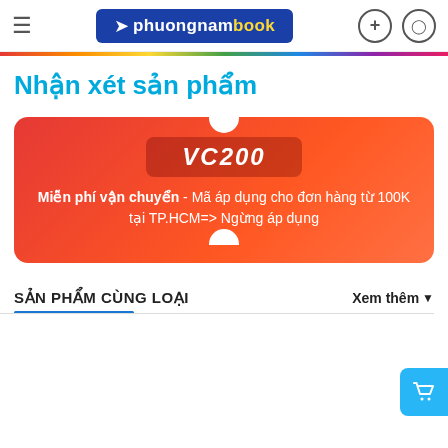[Figure (screenshot): Phuong Nam Book website header with logo, hamburger menu, search and user icons]
Nhận xét sản phẩm
[Figure (infographic): Red coupon card with code VC200 - Miễn phí vận chuyển - Mã áp dụng cho đơn hàng từ 100K tại TP.HCM=> Ngừng áp dụng]
SẢN PHẨM CÙNG LOẠI
Xem thêm